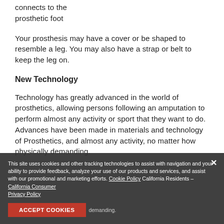connects to the prosthetic foot
Your prosthesis may have a cover or be shaped to resemble a leg. You may also have a strap or belt to keep the leg on.
New Technology
Technology has greatly advanced in the world of prosthetics, allowing persons following an amputation to perform almost any activity or sport that they want to do. Advances have been made in materials and technology of prosthetics and limbs, and almost any activity can now be demanding.
This site uses cookies and other tracking technologies to assist with navigation and your ability to provide feedback, analyze your use of our products and services, and assist with our promotional and marketing efforts. Cookie Policy California Residents – California Consumer Privacy Policy ACCEPT COOKIES demanding.